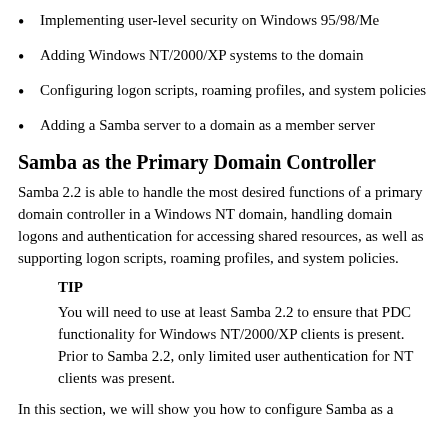Implementing user-level security on Windows 95/98/Me
Adding Windows NT/2000/XP systems to the domain
Configuring logon scripts, roaming profiles, and system policies
Adding a Samba server to a domain as a member server
Samba as the Primary Domain Controller
Samba 2.2 is able to handle the most desired functions of a primary domain controller in a Windows NT domain, handling domain logons and authentication for accessing shared resources, as well as supporting logon scripts, roaming profiles, and system policies.
TIP
You will need to use at least Samba 2.2 to ensure that PDC functionality for Windows NT/2000/XP clients is present. Prior to Samba 2.2, only limited user authentication for NT clients was present.
In this section, we will show you how to configure Samba as a